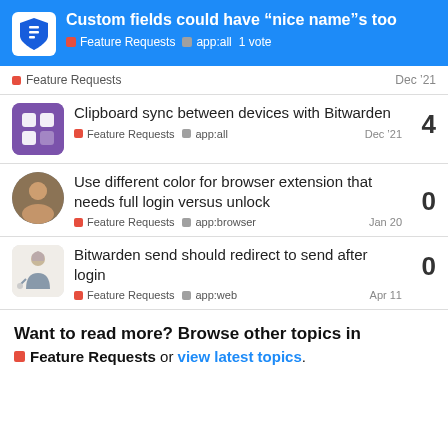Custom fields could have “nice name”s too | Feature Requests | app:all | 1 vote
Feature Requests — Dec '21
Clipboard sync between devices with Bitwarden — Feature Requests | app:all — Dec '21 — 4 replies
Use different color for browser extension that needs full login versus unlock — Feature Requests | app:browser — Jan 20 — 0 replies
Bitwarden send should redirect to send after login — Feature Requests | app:web — Apr 11 — 0 replies
Want to read more? Browse other topics in Feature Requests or view latest topics.